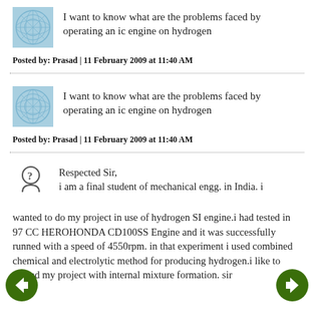[Figure (illustration): Blue decorative avatar icon with circular pattern]
I want to know what are the problems faced by operating an ic engine on hydrogen
Posted by: Prasad | 11 February 2009 at 11:40 AM
[Figure (illustration): Blue decorative avatar icon with circular pattern]
I want to know what are the problems faced by operating an ic engine on hydrogen
Posted by: Prasad | 11 February 2009 at 11:40 AM
[Figure (illustration): Question mark person avatar icon in grey outline]
Respected Sir,
i am a final student of mechanical engg. in India. i wanted to do my project in use of hydrogen SI engine.i had tested in 97 CC HEROHONDA CD100SS Engine and it was successfully runned with a speed of 4550rpm. in that experiment i used combined chemical and electrolytic method for producing hydrogen.i like to extend my project with internal mixture formation. sir